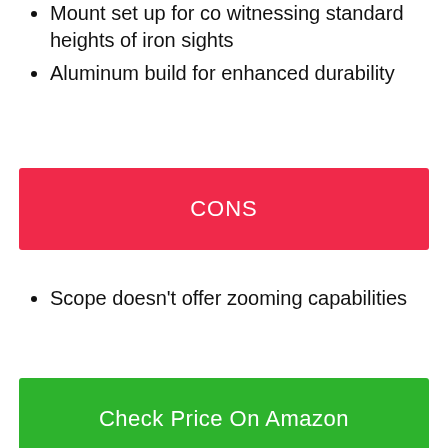Mount set up for co witnessing standard heights of iron sights
Aluminum build for enhanced durability
CONS
Scope doesn't offer zooming capabilities
Check Price On Amazon